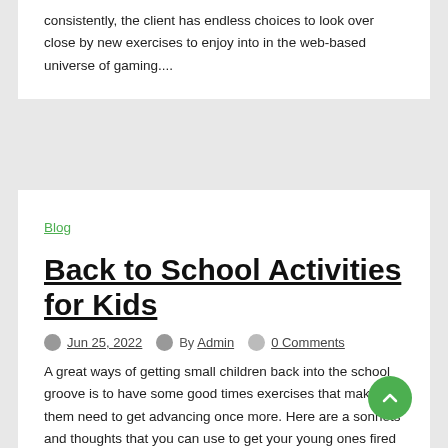consistently, the client has endless choices to look over close by new exercises to enjoy into in the web-based universe of gaming....
Blog
Back to School Activities for Kids
Jun 25, 2022   By Admin   0 Comments
A great ways of getting small children back into the school groove is to have some good times exercises that make them need to get advancing once more. Here are a sonnets and thoughts that you can use to get your young ones fired up for school once more!
Sonnets about Names: